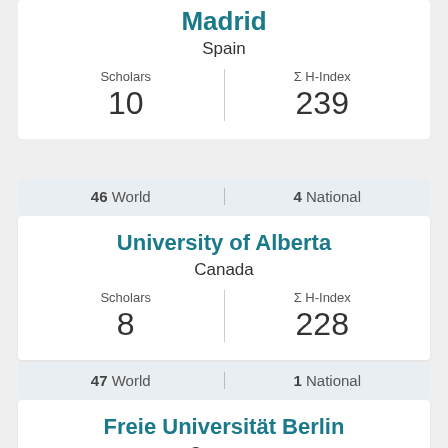Madrid
Spain
Scholars 10 | Σ H-Index 239
46 World | 4 National
University of Alberta
Canada
Scholars 8 | Σ H-Index 228
47 World | 1 National
Freie Universität Berlin
Germany